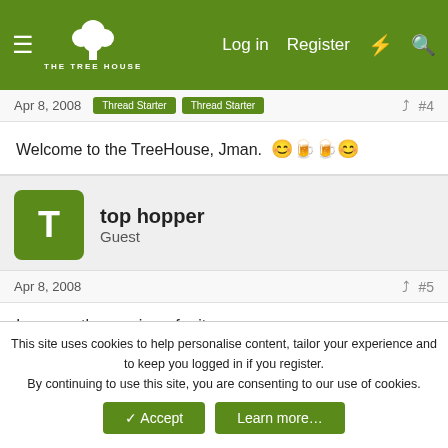[Figure (screenshot): The Tree House forum navigation bar with logo, hamburger menu, Log in, Register, and search icons on green background]
Apr 8, 2008
Thread Starter   Thread Starter   #4
Welcome to the TreeHouse, Jman. 😊🍺🍺😊
top hopper
Guest
Apr 8, 2008
#5
Ive seen the previews for it.

To me it looks about as appealing as Speed Racer.
This site uses cookies to help personalise content, tailor your experience and to keep you logged in if you register.
By continuing to use this site, you are consenting to our use of cookies.
✓ Accept    Learn more…